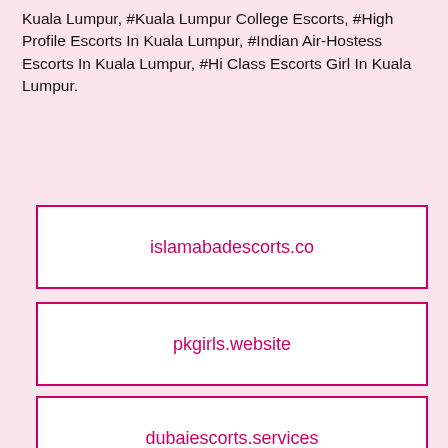Kuala Lumpur, #Kuala Lumpur College Escorts, #High Profile Escorts In Kuala Lumpur, #Indian Air-Hostess Escorts In Kuala Lumpur, #Hi Class Escorts Girl In Kuala Lumpur.
islamabadescorts.co
pkgirls.website
dubaiescorts.services
murreeislamabadescorts.com